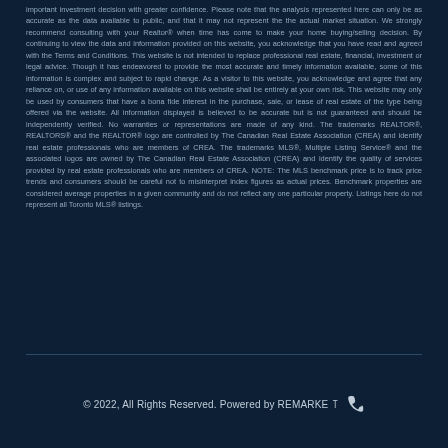important investment decision with greater confidence. Please note that the analysis represented here can only be as accurate as the data available to public, and that it may not represent the the actual market situation. We strongly recommend consulting with your Realtor® when time has come to make your home buying/selling decision. By continuing to view the data and information provided on this website, you acknowledge that you have read and agreed with the Terms and Conditions. This website is not intended to replace professional real estate, financial, investment or legal advice. Though it has endeavored to provide the most accurate and timely information available, some of this information is complex and subject to rapid change. As a visitor to this website, you acknowledge and agree that any reliance on, or use of any information available on this website shall be entirely at your own risk. This website may only be used by consumers that have a bona fide interest in the purchase, sale, or lease of real estate of the type being offered via the website. All information displayed is believed to be accurate but is not guaranteed and should be independently verified. No warranties or representations are made of any kind. The trademarks REALTOR®, REALTORS® and the REALTOR® logo are controlled by The Canadian Real Estate Association (CREA) and identify real estate professionals who are members of CREA. The trademarks MLS®, Multiple Listing Service® and the associated logos are owned by The Canadian Real Estate Association (CREA) and identify the quality of services provided by real estate professionals who are members of CREA. NOTE: The MLS benchmark price is to track price trends and consumers should be careful not to misinterpret index figures as actual prices. Benchmark properties are considered average properties in a given community and do not reflect any one particular property. Listings here do not represent all Toronto MLS® listings.
© 2022, All Rights Reserved. Powered by REMARKETY